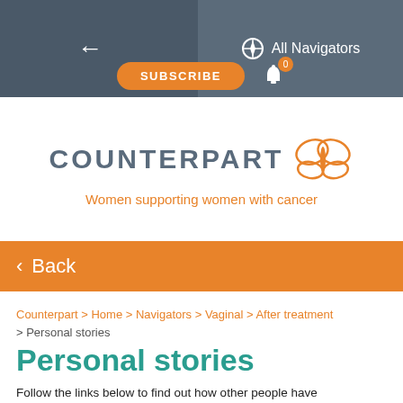← All Navigators  SUBSCRIBE  0
[Figure (logo): Counterpart logo with butterfly icon and tagline: Women supporting women with cancer]
< Back
Counterpart > Home > Navigators > Vaginal > After treatment > Personal stories
Personal stories
Follow the links below to find out how other people have